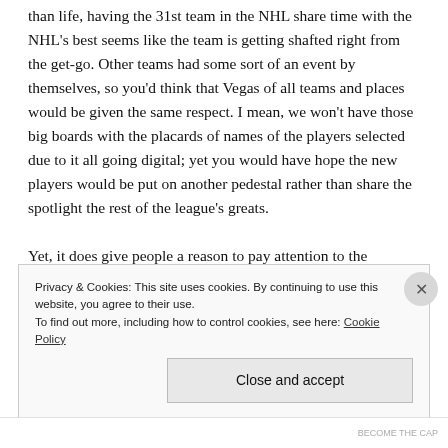than life, having the 31st team in the NHL share time with the NHL's best seems like the team is getting shafted right from the get-go. Other teams had some sort of an event by themselves, so you'd think that Vegas of all teams and places would be given the same respect. I mean, we won't have those big boards with the placards of names of the players selected due to it all going digital; yet you would have hope the new players would be put on another pedestal rather than share the spotlight the rest of the league's greats.
Yet, it does give people a reason to pay attention to the
Privacy & Cookies: This site uses cookies. By continuing to use this website, you agree to their use.
To find out more, including how to control cookies, see here: Cookie Policy
Close and accept